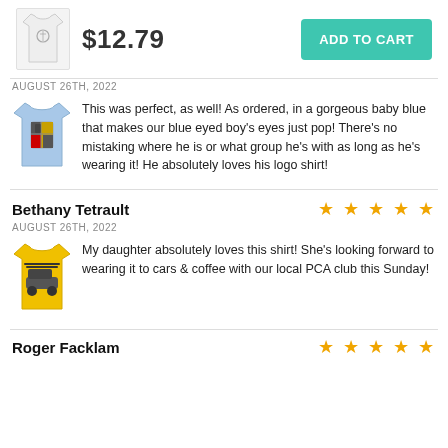[Figure (photo): White t-shirt product image with small logo]
$12.79
ADD TO CART
AUGUST 26TH, 2022
[Figure (photo): Blue children's t-shirt with Porsche crest logo]
This was perfect, as well! As ordered, in a gorgeous baby blue that makes our blue eyed boy's eyes just pop! There's no mistaking where he is or what group he's with as long as he's wearing it! He absolutely loves his logo shirt!
Bethany Tetrault
AUGUST 26TH, 2022
[Figure (photo): Yellow t-shirt with Porsche car graphic]
My daughter absolutely loves this shirt! She's looking forward to wearing it to cars & coffee with our local PCA club this Sunday!
Roger Facklam